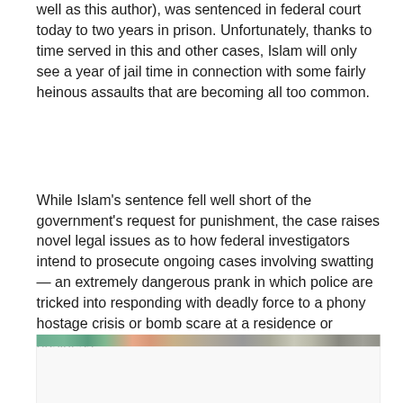well as this author), was sentenced in federal court today to two years in prison. Unfortunately, thanks to time served in this and other cases, Islam will only see a year of jail time in connection with some fairly heinous assaults that are becoming all too common.
While Islam's sentence fell well short of the government's request for punishment, the case raises novel legal issues as to how federal investigators intend to prosecute ongoing cases involving swatting — an extremely dangerous prank in which police are tricked into responding with deadly force to a phony hostage crisis or bomb scare at a residence or business.
[Figure (photo): Partial image visible at the bottom of the page, showing a colorful outdoor scene (appears to be people or a street scene). Only the top strip is visible.]